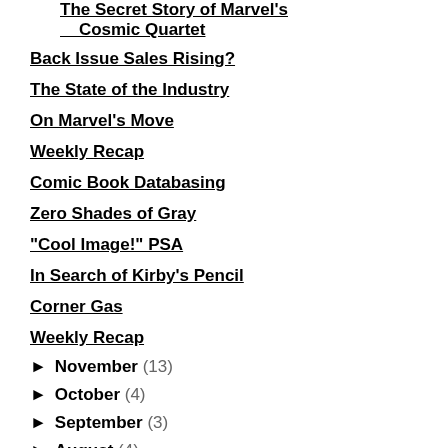The Secret Story of Marvel's Cosmic Quartet
Back Issue Sales Rising?
The State of the Industry
On Marvel's Move
Weekly Recap
Comic Book Databasing
Zero Shades of Gray
"Cool Image!" PSA
In Search of Kirby's Pencil
Corner Gas
Weekly Recap
► November (13)
► October (4)
► September (3)
► August (4)
► July (4)